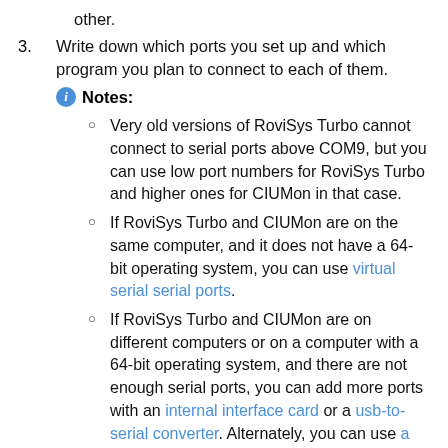other.
3. Write down which ports you set up and which program you plan to connect to each of them.
Notes:
Very old versions of RoviSys Turbo cannot connect to serial ports above COM9, but you can use low port numbers for RoviSys Turbo and higher ones for CIUMon in that case.
If RoviSys Turbo and CIUMon are on the same computer, and it does not have a 64-bit operating system, you can use virtual serial ports.
If RoviSys Turbo and CIUMon are on different computers or on a computer with a 64-bit operating system, and there are not enough serial ports, you can add more ports with an internal interface card or a usb-to-serial converter. Alternately, you can use a third-party